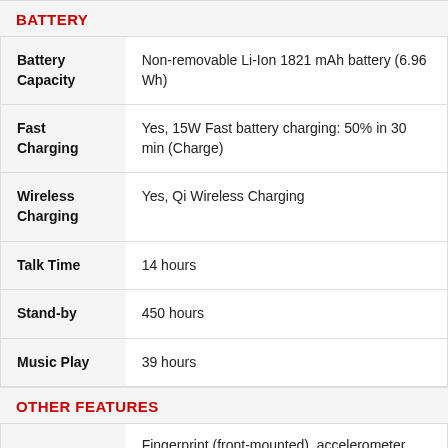BATTERY
| Feature | Detail |
| --- | --- |
| Battery Capacity | Non-removable Li-Ion 1821 mAh battery (6.96 Wh) |
| Fast Charging | Yes, 15W Fast battery charging: 50% in 30 min (Charge) |
| Wireless Charging | Yes, Qi Wireless Charging |
| Talk Time | 14 hours |
| Stand-by | 450 hours |
| Music Play | 39 hours |
OTHER FEATURES
Fingerprint (front-mounted), accelerometer